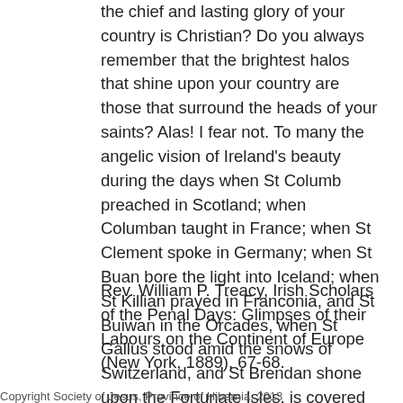the chief and lasting glory of your country is Christian? Do you always remember that the brightest halos that shine upon your country are those that surround the heads of your saints? Alas! I fear not. To many the angelic vision of Ireland's beauty during the days when St Columb preached in Scotland; when Columban taught in France; when St Clement spoke in Germany; when St Buan bore the light into Iceland; when St Killian prayed in Franconia, and St Buiwan in the Orcades, when St Gallus stood amid the snows of Switzerland, and St Brendan shone upon the Fortunate Isles, is covered with mists and clouds.....
Rev. William P. Treacy, Irish Scholars of the Penal Days: Glimpses of their Labours on the Continent of Europe (New York, 1889), 67-68.
Copyright Society of Jesus, Province of Hibernia, 2013